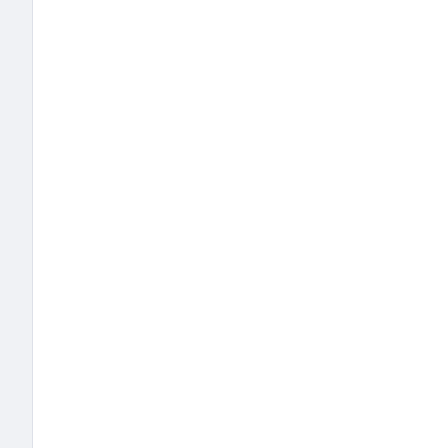the rewrite of the freedb component introduced some
Before v1.0 will be released there will be another snapshot pr
Sorry to the developers that I didn't finish the Bonk library yet. BonkEnc, but didn't implement features like seeking or multic released then.
I will have some free days now before the next semester star BonkEnc.
BonkEnc status update
Written by Robert
Sunday, 14 May 2008 14:45
Some time has passed since the last BonkEnc release, but th
I'm currently working on a stand-alone Bonk audio library whi products. It will also help us ease the development of Bonk pl plug-ins for Winamp were each using their own Bonk codec.
I expect to be ready to release BonkEnc v1.0 beta 4 in about earlier.